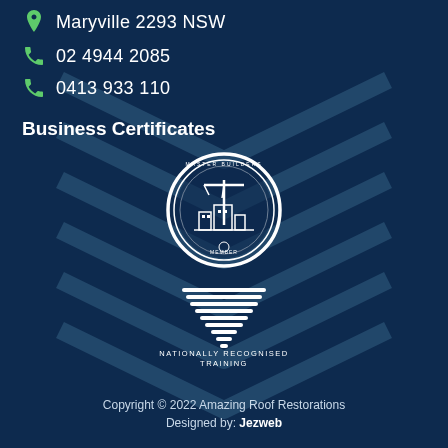Maryville 2293 NSW
02 4944 2085
0413 933 110
Business Certificates
[Figure (logo): Master Builders Association member seal — circular badge with crane and building imagery, white on dark navy background]
[Figure (logo): Nationally Recognised Training logo — funnel/chevron stack symbol above text 'NATIONALLY RECOGNISED TRAINING']
Copyright © 2022 Amazing Roof Restorations Designed by: Jezweb